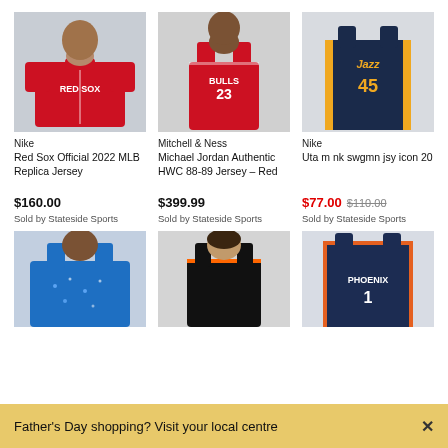[Figure (photo): Man wearing Nike Red Sox Official 2022 MLB Replica Jersey in red]
Nike
Red Sox Official 2022 MLB Replica Jersey
$160.00
Sold by Stateside Sports
[Figure (photo): Man wearing Mitchell & Ness Michael Jordan Authentic HWC 88-89 Jersey – Red, Bulls #23]
Mitchell & Ness
Michael Jordan Authentic HWC 88-89 Jersey – Red
$399.99
Sold by Stateside Sports
[Figure (photo): Nike Utah Jazz #45 swingman icon jersey in navy and gold]
Nike
Uta m nk swgmn jsy icon 20
$77.00  $110.00
Sold by Stateside Sports
[Figure (photo): Man wearing blue sports jersey]
[Figure (photo): Person wearing black sports top]
[Figure (photo): Phoenix Suns jersey in navy and orange]
Father's Day shopping? Visit your local centre